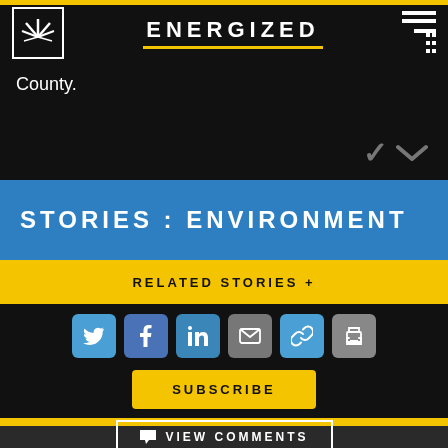ENERGIZED
County.
STORIES : ENVIRONMENT
RELATED STORIES +
[Figure (other): Social share icons: Twitter, Facebook, LinkedIn, Email, Link, Print]
SUBSCRIBE
VIEW COMMENTS